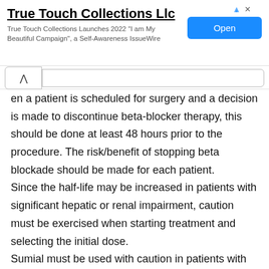[Figure (screenshot): Advertisement banner for True Touch Collections LLC showing company name, tagline about 2022 Beautiful Campaign and Self-Awareness IssueWire, and an Open button]
en a patient is scheduled for surgery and a decision is made to discontinue beta-blocker therapy, this should be done at least 48 hours prior to the procedure. The risk/benefit of stopping beta blockade should be made for each patient. Since the half-life may be increased in patients with significant hepatic or renal impairment, caution must be exercised when starting treatment and selecting the initial dose. Sumial must be used with caution in patients with decompensated cirrhosis. In patients with portal